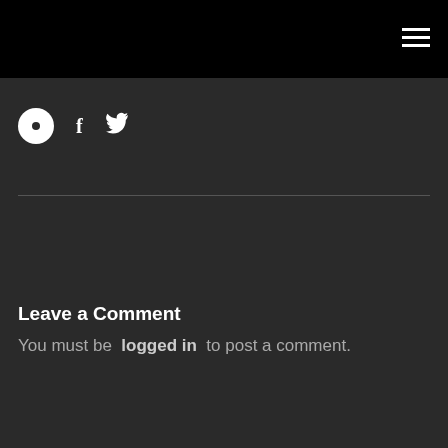Navigation bar with hamburger menu icon
[Figure (infographic): Social media icons: circle icon, Facebook f icon, Twitter bird icon]
Leave a Comment
You must be logged in to post a comment.